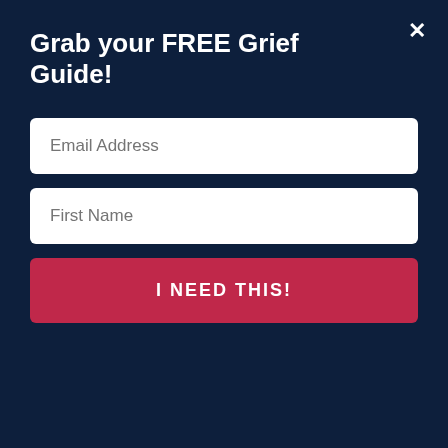Grab your FREE Grief Guide!
Email Address
First Name
I NEED THIS!
something I'm routinely on the lookout is for anything in my home that does not honor God. I call these “open doors.” Anything occult or dark in our home operates like an open door and gives darkness the “right” to be there. That’s why God was so clear with the Israelites about not taking false gods and possessions from certain